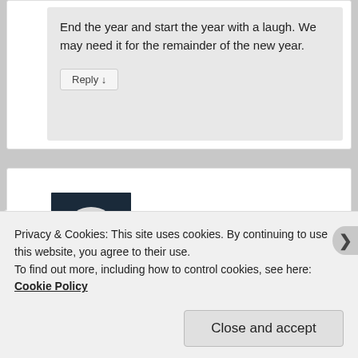End the year and start the year with a laugh. We may need it for the remainder of the new year.
Reply ↓
[Figure (photo): Avatar photo of Anne Mehrling, an older woman with white/gray hair outdoors.]
Anne Mehrling on December 29, 2016 at 11:37 pm said:
Privacy & Cookies: This site uses cookies. By continuing to use this website, you agree to their use.
To find out more, including how to control cookies, see here: Cookie Policy
Close and accept